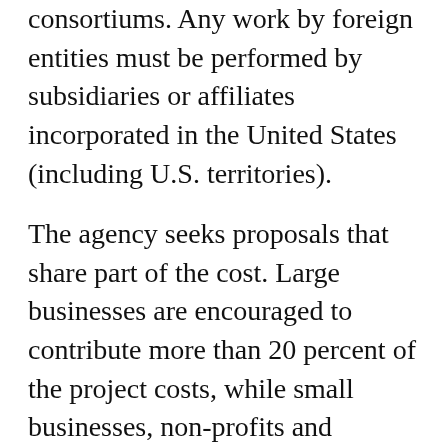consortiums. Any work by foreign entities must be performed by subsidiaries or affiliates incorporated in the United States (including U.S. territories).
The agency seeks proposals that share part of the cost. Large businesses are encouraged to contribute more than 20 percent of the project costs, while small businesses, non-profits and educational institutions may offer less.
ARPA-E may issue one, multiple, or no awards. Individual awards may vary between $250,000 and $10 million. The period of performance for funding